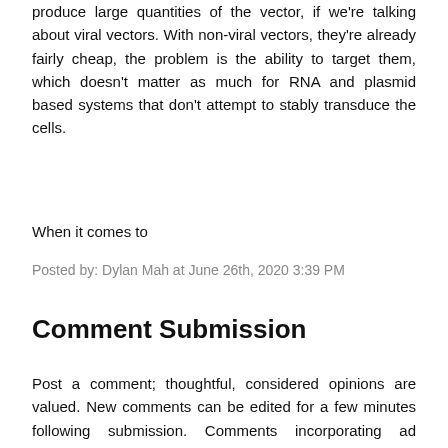produce large quantities of the vector, if we're talking about viral vectors. With non-viral vectors, they're already fairly cheap, the problem is the ability to target them, which doesn't matter as much for RNA and plasmid based systems that don't attempt to stably transduce the cells.
When it comes to
Posted by: Dylan Mah at June 26th, 2020 3:39 PM
Comment Submission
Post a comment; thoughtful, considered opinions are valued. New comments can be edited for a few minutes following submission. Comments incorporating ad hominem attacks, advertising, and other forms of